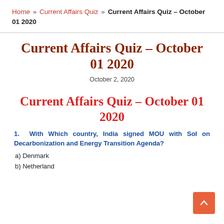Home » Current Affairs Quiz » Current Affairs Quiz – October 01 2020
Current Affairs Quiz – October 01 2020
October 2, 2020
Current Affairs Quiz – October 01 2020
1. With Which country, India signed MOU with SoI on Decarbonization and Energy Transition Agenda?
a) Denmark
b) Netherland